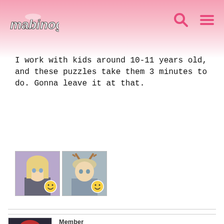Mabinogi
I work with kids around 10-11 years old, and these puzzles take them 3 minutes to do. Gonna leave it at that.
[Figure (photo): Two anime-style character thumbnails side by side - a blonde character and a character with antlers/deer headdress, each with a smiley face badge overlay]
Member
Crimson
Mabinogi Rep: 64,210
Posts: 8,868
JUNE 29, 2019